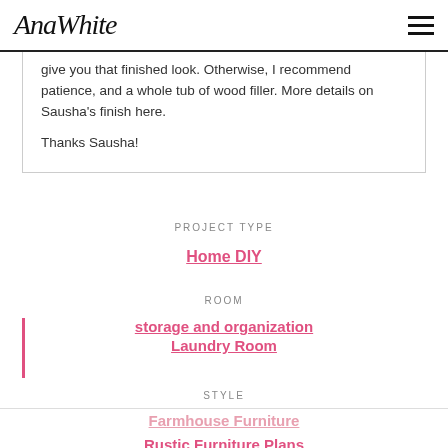AnaWhite
give you that finished look. Otherwise, I recommend patience, and a whole tub of wood filler. More details on Sausha's finish here.

Thanks Sausha!
PROJECT TYPE
Home DIY
ROOM
storage and organization
Laundry Room
STYLE
Farmhouse Furniture
Rustic Furniture Plans